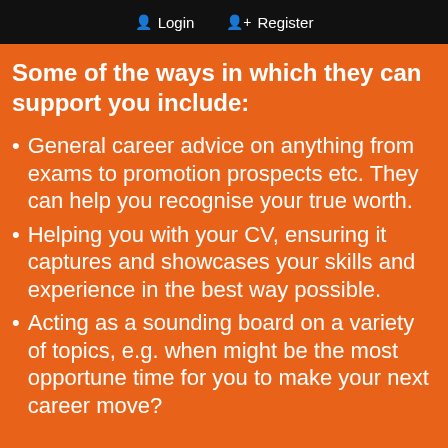Login  Register
Some of the ways in which they can support you include:
General career advice on anything from exams to promotion prospects etc. They can help you recognise your true worth.
Helping you with your CV, ensuring it captures and showcases your skills and experience in the best way possible.
Acting as a sounding board on a variety of topics, e.g. when might be the most opportune time for you to make your next career move?